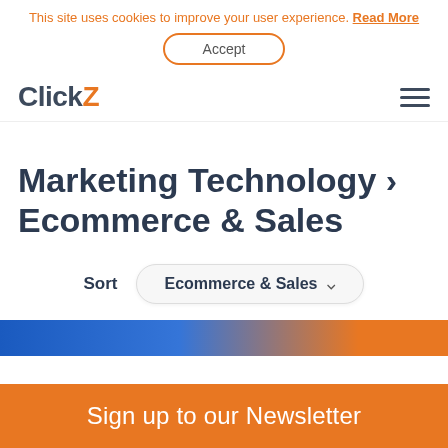This site uses cookies to improve your user experience. Read More
Accept
ClickZ
Marketing Technology > Ecommerce & Sales
Sort  Ecommerce & Sales
[Figure (photo): Partial image strip at bottom of content area, blue and orange tones]
Sign up to our Newsletter